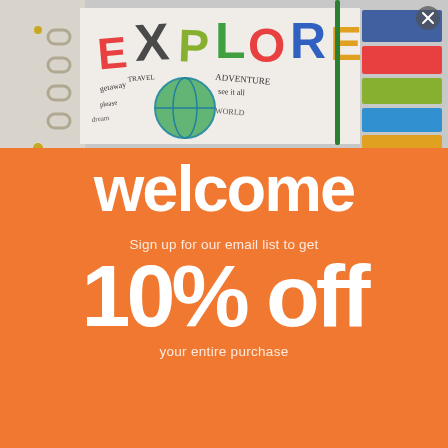[Figure (photo): Close-up photo of a decorative scrapbook/planner with colorful lettering spelling 'EXPLORE', handwritten travel-themed words like 'adventure', 'travel', 'getaway', 'sounds', and a globe illustration, with ring binder on the left side.]
welcome
Sign up for our email list to get
10% off
your entire purchase